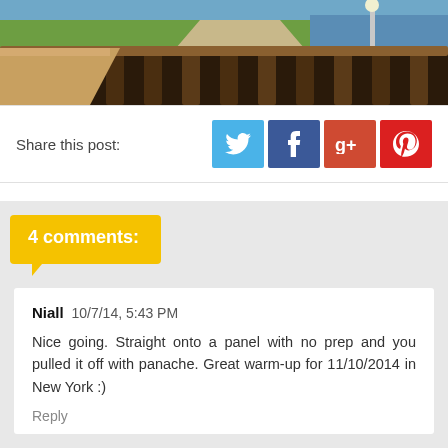[Figure (photo): Outdoor park scene with wooden railing/fence in foreground, pathway, green grass, and a body of water with a lamppost in background]
Share this post:
[Figure (other): Social share buttons: Twitter (blue bird icon), Facebook (dark blue f icon), Google+ (red g+ icon), Pinterest (red p icon)]
4 comments:
Niall 10/7/14, 5:43 PM

Nice going. Straight onto a panel with no prep and you pulled it off with panache. Great warm-up for 11/10/2014 in New York :)
Reply